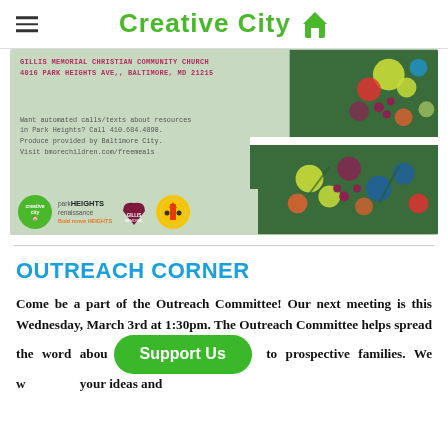Creative City
[Figure (photo): Community flyer for food distribution at Gillis Memorial Christian Community Church, 4016 Park Heights Ave., Baltimore, MD 21215. Contains logos of Creative City, Park Heights Renaissance, Gillis Memorial, and City of Baltimore. Text about automated calls/texts about resources at 410.684.4890 and bmorechildren.com/freemeals. Decorative fruit/produce images on the right.]
OUTREACH CORNER
Come be a part of the Outreach Committee! Our next meeting is this Wednesday, March 3rd at 1:30pm. The Outreach Committee helps spread the word about [Support Us] to prospective families. We wo[uld love] your ideas and